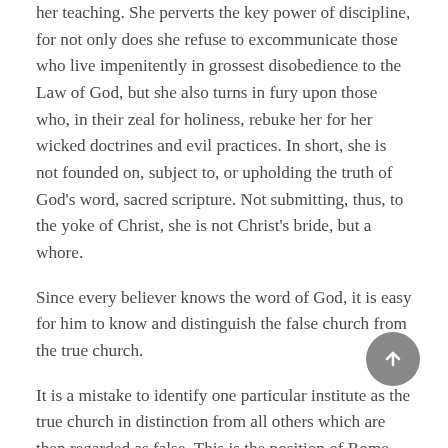her teaching. She perverts the key power of discipline, for not only does she refuse to excommunicate those who live impenitently in grossest disobedience to the Law of God, but she also turns in fury upon those who, in their zeal for holiness, rebuke her for her wicked doctrines and evil practices. In short, she is not founded on, subject to, or upholding the truth of God's word, sacred scripture. Not submitting, thus, to the yoke of Christ, she is not Christ's bride, but a whore.
Since every believer knows the word of God, it is easy for him to know and distinguish the false church from the true church.
It is a mistake to identify one particular institute as the true church in distinction from all others which are then regarded as false. This is the position of Rome. Rome is the true church; all other churches are false. There might seem to be a softening of this hard line today.